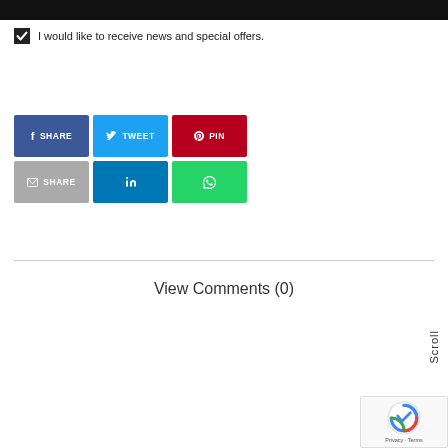[Figure (screenshot): Black bar at top of page]
I would like to receive news and special offers.
[Figure (infographic): Social share buttons grid: Facebook SHARE, Twitter TWEET, Pinterest PIN, Email SHARE, LinkedIn, WhatsApp]
View Comments (0)
Scroll
[Figure (screenshot): reCAPTCHA widget with Privacy and Terms]